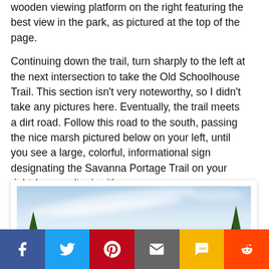wooden viewing platform on the right featuring the best view in the park, as pictured at the top of the page.
Continuing down the trail, turn sharply to the left at the next intersection to take the Old Schoolhouse Trail. This section isn't very noteworthy, so I didn't take any pictures here. Eventually, the trail meets a dirt road. Follow this road to the south, passing the nice marsh pictured below on your left, until you see a large, colorful, informational sign designating the Savanna Portage Trail on your right (you can't miss it).
[Figure (photo): Outdoor nature photo showing a blue sky with wispy white clouds and green trees visible at the left and right edges of the frame.]